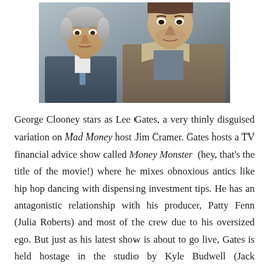[Figure (photo): Two men photographed outdoors. On the left is an older man with gray hair wearing a suit and tie. On the right is a younger man with short hair wearing a sherpa-lined jacket over a gray t-shirt.]
George Clooney stars as Lee Gates, a very thinly disguised variation on Mad Money host Jim Cramer. Gates hosts a TV financial advice show called Money Monster (hey, that's the title of the movie!) where he mixes obnoxious antics like hip hop dancing with dispensing investment tips. He has an antagonistic relationship with his producer, Patty Fenn (Julia Roberts) and most of the crew due to his oversized ego. But just as his latest show is about to go live, Gates is held hostage in the studio by Kyle Budwell (Jack O'Connell), an angry, working class young man who lost $60,000 to a bad tip from Gates' show.